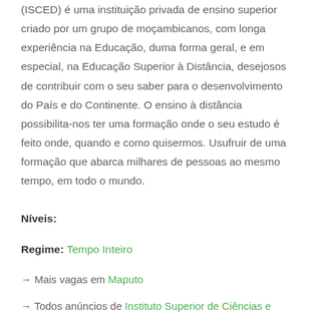(ISCED) é uma instituição privada de ensino superior criado por um grupo de moçambicanos, com longa experiência na Educação, duma forma geral, e em especial, na Educação Superior à Distância, desejosos de contribuir com o seu saber para o desenvolvimento do País e do Continente. O ensino à distância possibilita-nos ter uma formação onde o seu estudo é feito onde, quando e como quisermos. Usufruir de uma formação que abarca milhares de pessoas ao mesmo tempo, em todo o mundo.
Níveis:
Regime: Tempo Inteiro
→ Mais vagas em Maputo
→ Todos anúncios de Instituto Superior de Ciências e